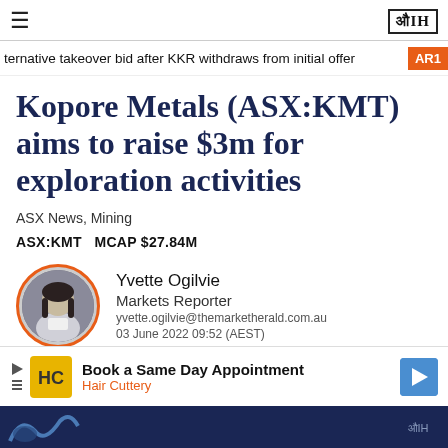≡  ЭIH
ternative takeover bid after KKR withdraws from initial offer  AR1
Kopore Metals (ASX:KMT) aims to raise $3m for exploration activities
ASX News, Mining
ASX:KMT    MCAP $27.84M
Yvette Ogilvie
Markets Reporter
yvette.ogilvie@themarketherald.com.au
03 June 2022 09:52 (AEST)
[Figure (other): Advertisement: Book a Same Day Appointment - Hair Cuttery]
[Figure (photo): Bottom image strip showing dark blue background with partial article image]